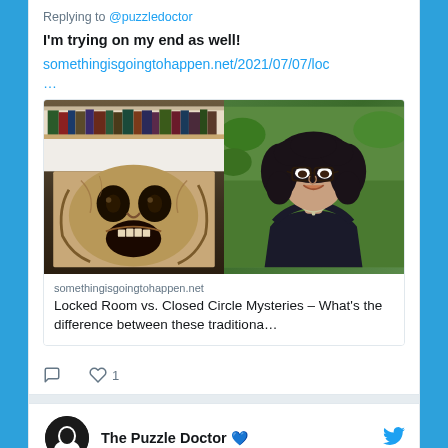Replying to @puzzledoctor
I'm trying on my end as well!
somethingisgoingtohappen.net/2021/07/07/loc
…
[Figure (screenshot): Split image: left side shows a book shelf with a dark screaming face artwork below it, right side shows a woman with curly black hair and glasses smiling outdoors]
somethingisgoingtohappen.net
Locked Room vs. Closed Circle Mysteries – What's the difference between these traditiona…
1
The Puzzle Doctor 💙